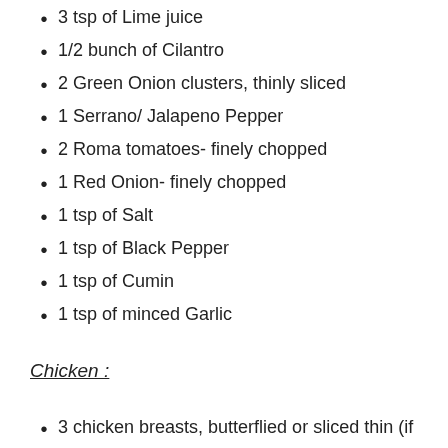3 tsp of Lime juice
1/2 bunch of Cilantro
2 Green Onion clusters, thinly sliced
1 Serrano/ Jalapeno Pepper
2 Roma tomatoes- finely chopped
1 Red Onion- finely chopped
1 tsp of Salt
1 tsp of Black Pepper
1 tsp of Cumin
1 tsp of minced Garlic
Chicken :
3 chicken breasts, butterflied or sliced thin (if making tacos)
1 tsp of brown sugar
1 tsp of soy sauce
1 tsp of red chili powder